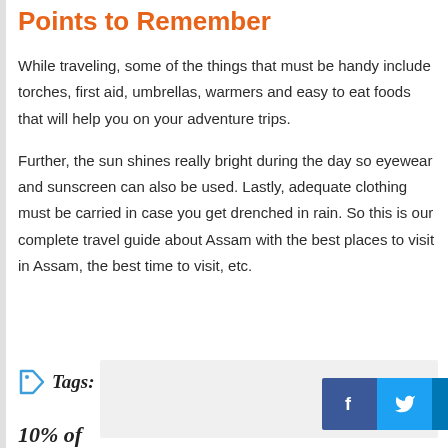Points to Remember
While traveling, some of the things that must be handy include torches, first aid, umbrellas, warmers and easy to eat foods that will help you on your adventure trips.
Further, the sun shines really bright during the day so eyewear and sunscreen can also be used. Lastly, adequate clothing must be carried in case you get drenched in rain. So this is our complete travel guide about Assam with the best places to visit in Assam, the best time to visit, etc.
Tags:
[Figure (infographic): Social sharing buttons for Facebook, Twitter, LinkedIn, and Pinterest]